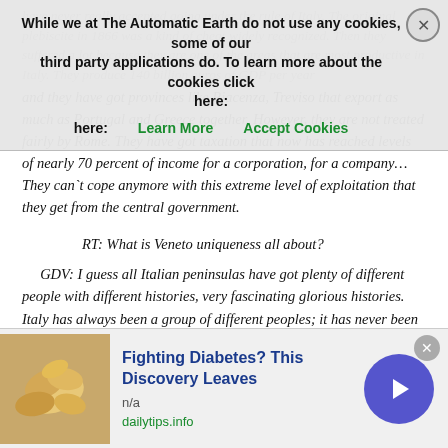have never really accepted going under the rule of Italy. The original plebiscite in 1866 was a kind of cheat widely recognized. Then they suffered a lot because they are one of the areas that are most productive in Italy. They produce 140 billion euros of GDP per year and they have got provinces like Piacenza, Treviso that export as much as Portugal and Greece together. However, they are not treated fairly by Rome. They have got taxation that now has reached levels of nearly 70 percent of income for a corporation, for a company…They can`t cope anymore with this extreme level of exploitation that they get from the central government.
RT: What is Veneto uniqueness all about?
GDV: I guess all Italian peninsulas have got plenty of different people with different histories, very fascinating glorious histories. Italy has always been a group of different peoples; it has never been really a united nation. I think Veneto has got this pride about the Serenissima, the Republic of St. Marc that with more than 1,000 years
[Figure (other): Cookie consent banner with text about The Automatic Earth cookies, Learn More and Accept Cookies links, and close button.]
[Figure (other): Ad banner for Fighting Diabetes? This Discovery Leaves, from dailytips.info, showing cashew nuts image and arrow button.]